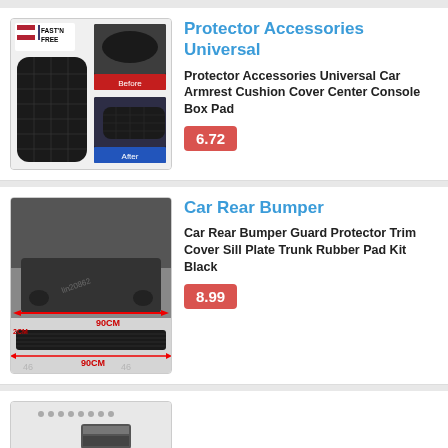[Figure (photo): Product image for Protector Accessories Universal - shows armrest cushion cover before and after with FAST'N FREE badge]
Protector Accessories Universal
Protector Accessories Universal Car Armrest Cushion Cover Center Console Box Pad
6.72
[Figure (photo): Product image for Car Rear Bumper - shows rear bumper guard with measurements 90CM width and 2CM height]
Car Rear Bumper
Car Rear Bumper Guard Protector Trim Cover Sill Plate Trunk Rubber Pad Kit Black
8.99
[Figure (photo): Partial product image visible at bottom of page - third listing partially cut off]